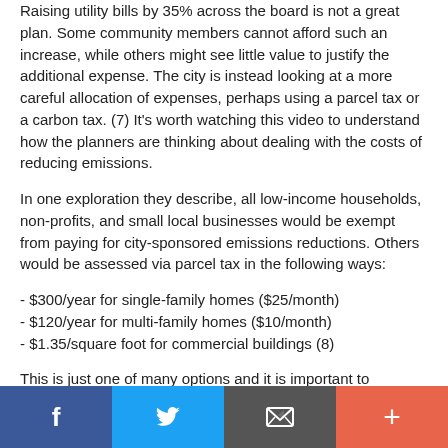Raising utility bills by 35% across the board is not a great plan. Some community members cannot afford such an increase, while others might see little value to justify the additional expense. The city is instead looking at a more careful allocation of expenses, perhaps using a parcel tax or a carbon tax. (7) It's worth watching this video to understand how the planners are thinking about dealing with the costs of reducing emissions.
In one exploration they describe, all low-income households, non-profits, and small local businesses would be exempt from paying for city-sponsored emissions reductions. Others would be assessed via parcel tax in the following ways:
- $300/year for single-family homes ($25/month)
- $120/year for multi-family homes ($10/month)
- $1.35/square foot for commercial buildings (8)
This is just one of many options and it is important to understand, as Assistant Director for Utilities Resource Management Jonathan Abendschein cautions, that “there are a lot of assumptions in this model, and it is an order of magnitude estimate rather than a precise estimate”. Furthermore, no change like this can be made without substantial engagement with stakeholders and ultimately voter approval.
[Figure (infographic): Social sharing bar with four buttons: Facebook (blue), Twitter (light blue), Email/envelope (dark gray), and Plus/more (orange-red)]